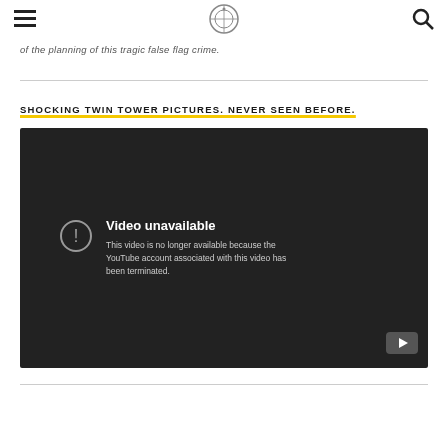[hamburger menu] [logo] [search icon]
of the planning of this tragic false flag crime.
SHOCKING TWIN TOWER PICTURES. NEVER SEEN BEFORE.
[Figure (screenshot): Embedded YouTube video player showing 'Video unavailable' error message. Text reads: 'Video unavailable. This video is no longer available because the YouTube account associated with this video has been terminated.' A YouTube logo button is visible in the bottom-right corner.]